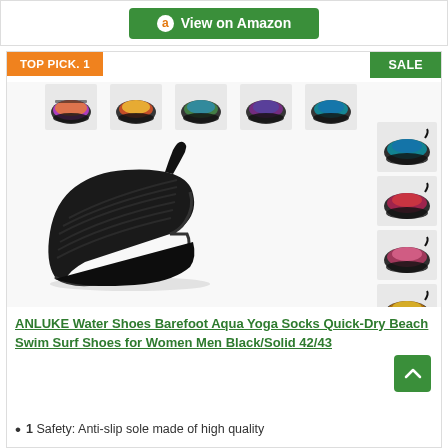[Figure (screenshot): Amazon 'View on Amazon' green button at top of page]
[Figure (photo): Product listing card showing ANLUKE water shoes. Orange 'TOP PICK. 1' badge top-left, green 'SALE' badge top-right. Main product image of black aqua sock/water shoe in center-left with multiple colorful variant thumbnails arranged in a grid to the right and above.]
ANLUKE Water Shoes Barefoot Aqua Yoga Socks Quick-Dry Beach Swim Surf Shoes for Women Men Black/Solid 42/43
1  Safety: Anti-slip sole made of high quality